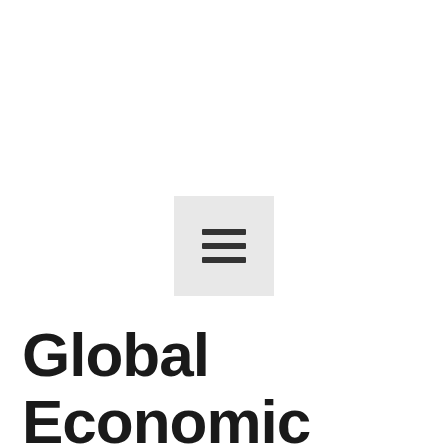[Figure (other): hamburger menu icon — three horizontal lines inside a light gray square]
Global Economic Situation, World Economic Situation